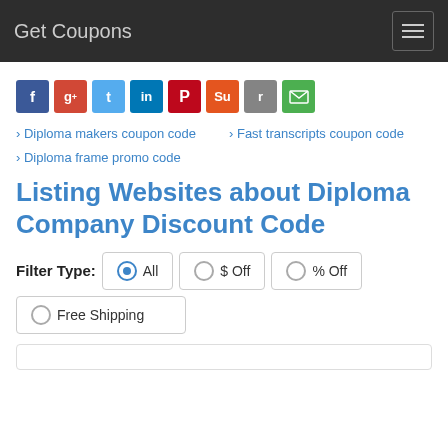Get Coupons
[Figure (infographic): Row of social media sharing icons: Facebook (blue), Google+ (red), Twitter (light blue), LinkedIn (dark blue), Pinterest (red), StumbleUpon (orange), Reddit (gray), Email (green)]
› Diploma makers coupon code
› Fast transcripts coupon code
› Diploma frame promo code
Listing Websites about Diploma Company Discount Code
Filter Type: All  $ Off  % Off  Free Shipping